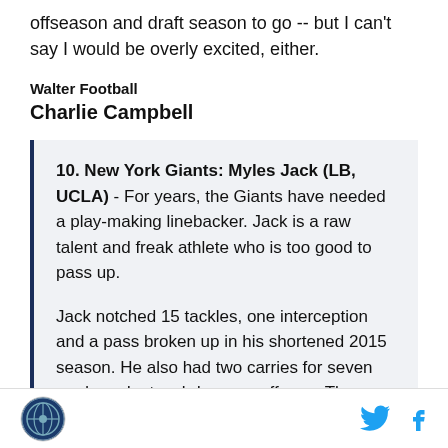offseason and draft season to go -- but I can't say I would be overly excited, either.
Walter Football
Charlie Campbell
10. New York Giants: Myles Jack (LB, UCLA) - For years, the Giants have needed a play-making linebacker. Jack is a raw talent and freak athlete who is too good to pass up.

Jack notched 15 tackles, one interception and a pass broken up in his shortened 2015 season. He also had two carries for seven yards and a touchdown on offense. The junior suffered a knee